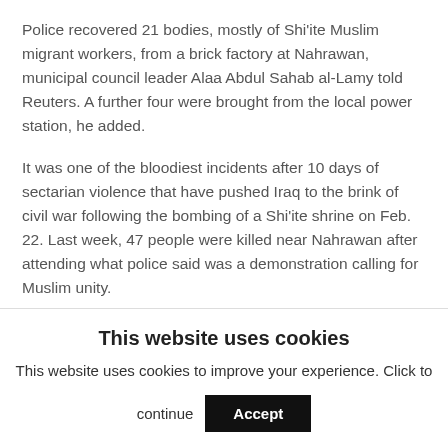Police recovered 21 bodies, mostly of Shi'ite Muslim migrant workers, from a brick factory at Nahrawan, municipal council leader Alaa Abdul Sahab al-Lamy told Reuters. A further four were brought from the local power station, he added.
It was one of the bloodiest incidents after 10 days of sectarian violence that have pushed Iraq to the brink of civil war following the bombing of a Shi'ite shrine on Feb. 22. Last week, 47 people were killed near Nahrawan after attending what police said was a demonstration calling for Muslim unity.
Police and Interior Ministry sources in Baghdad said they could not confirm a total death toll but said nine
This website uses cookies
This website uses cookies to improve your experience. Click to continue